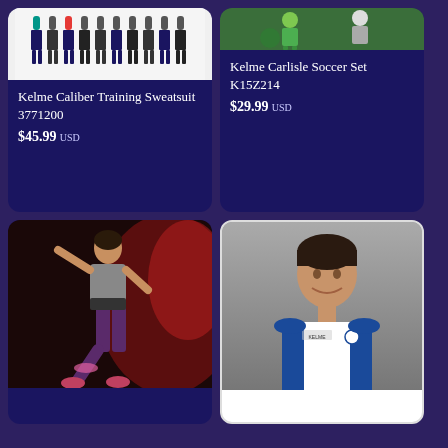[Figure (photo): Product photo of Kelme Caliber Training Sweatsuit showing multiple figures in athletic wear]
Kelme Caliber Training Sweatsuit 3771200
$45.99 USD
[Figure (photo): Soccer players in action wearing Kelme Carlisle Soccer Set]
Kelme Carlisle Soccer Set K15Z214
$29.99 USD
[Figure (photo): Young woman in workout clothes posing against red and dark background]
[Figure (photo): Man in Kelme white and blue soccer jersey against grey background]